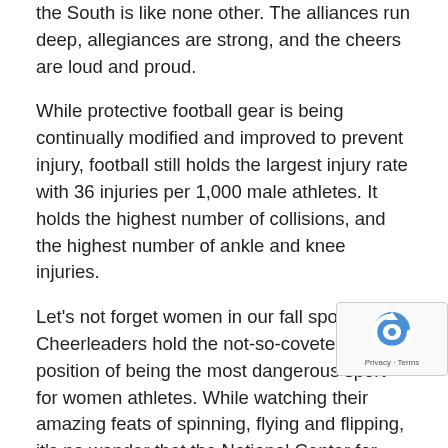the South is like none other. The alliances run deep, allegiances are strong, and the cheers are loud and proud.
While protective football gear is being continually modified and improved to prevent injury, football still holds the largest injury rate with 36 injuries per 1,000 male athletes. It holds the highest number of collisions, and the highest number of ankle and knee injuries.
Let's not forget women in our fall sports. Cheerleaders hold the not-so-coveted position of being the most dangerous sport for women athletes. While watching their amazing feats of spinning, flying and flipping, it's no wonder that the National Center for Catastrophic Sports Injury Research discovered that cheerleading provided 70.5 % of catastrophic injuries suffered by college athletes. The creative and risky (high flying) routines provide many opportunities for
If you or your student athlete suffers from a sports related